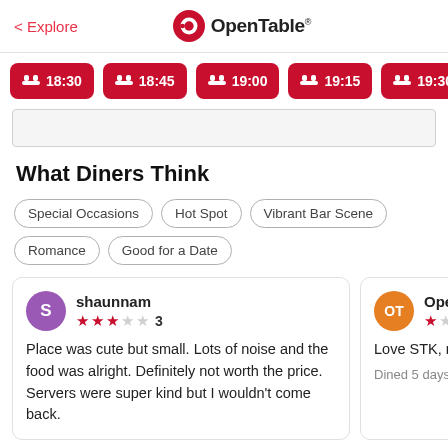< Explore | OpenTable
18:30
18:45
19:00
19:15
19:30
What Diners Think
Special Occasions
Hot Spot
Vibrant Bar Scene
Romance
Good for a Date
shaunnam — 3 stars — Place was cute but small. Lots of noise and the food was alright. Definitely not worth the price. Servers were super kind but I wouldn't come back.
OpenTable — 1 star — Love STK, not this — Dined 5 days ago